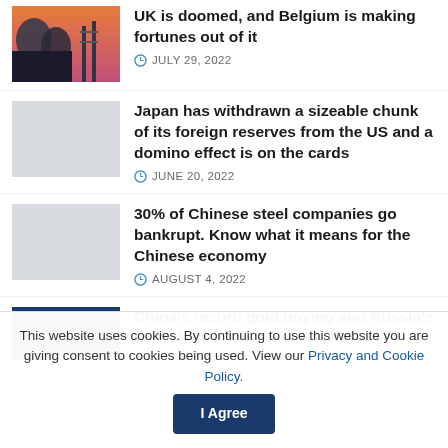UK is doomed, and Belgium is making fortunes out of it — JULY 29, 2022
Japan has withdrawn a sizeable chunk of its foreign reserves from the US and a domino effect is on the cards — JUNE 20, 2022
30% of Chinese steel companies go bankrupt. Know what it means for the Chinese economy — AUGUST 4, 2022
China's record gold buying and Russia's de-Dollarization means death of US Economy as we know it
This website uses cookies. By continuing to use this website you are giving consent to cookies being used. View our Privacy and Cookie Policy. I Agree